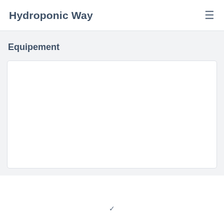Hydroponic Way
Equipement
[Figure (other): White card/content area placeholder]
v